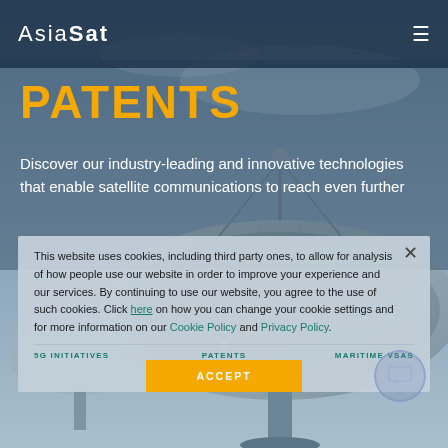AsiaSat
PATENTS
Discover our industry-leading and innovative technologies that enable satellite communications to reach even further
[Figure (photo): Large satellite dish antenna photographed from below against an overcast sky]
SCROLL DOWN
This website uses cookies, including third party ones, to allow for analysis of how people use our website in order to improve your experience and our services. By continuing to use our website, you agree to the use of such cookies. Click here on how you can change your cookie settings and for more information on our Cookie Policy and Privacy Policy.
5G INITIATIVES   PATENTS   MARITIME VSAS
ACCEPT